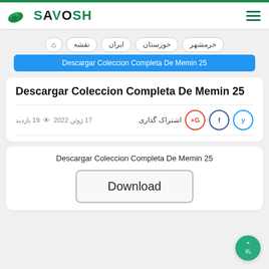[Figure (logo): Savosh website logo with green wing/bird icon and teal text reading SAVOSH]
SAVOSH
نقشه | ایران | خوزستان | خرمشهر
Descargar Coleccion Completa De Memin 25
17 ژوئن 2022  19 بازدید
اشتراک گذاری
Descargar Coleccion Completa De Memin 25
Download
بالا